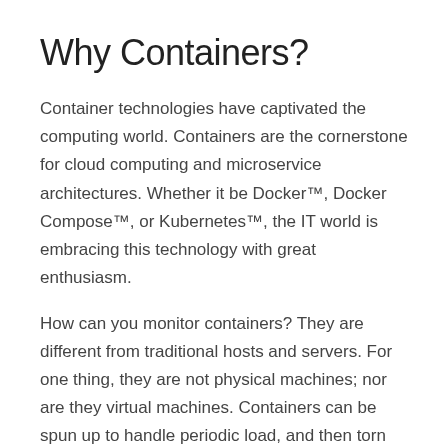Why Containers?
Container technologies have captivated the computing world. Containers are the cornerstone for cloud computing and microservice architectures. Whether it be Docker™, Docker Compose™, or Kubernetes™, the IT world is embracing this technology with great enthusiasm.
How can you monitor containers? They are different from traditional hosts and servers. For one thing, they are not physical machines; nor are they virtual machines. Containers can be spun up to handle periodic load, and then torn down when no longer needed. With Kubernetes, containers can also be replicated and load balanced in pods